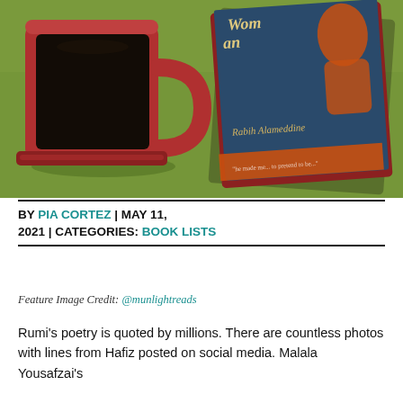[Figure (photo): Overhead photo of a red coffee mug with black coffee and a book with a blue cover on a green tablecloth. The book appears to be by Rabih Alameddine.]
BY PIA CORTEZ | MAY 11, 2021 | CATEGORIES: BOOK LISTS
Feature Image Credit: @munlightreads
Rumi's poetry is quoted by millions. There are countless photos with lines from Hafiz posted on social media. Malala Yousafzai's